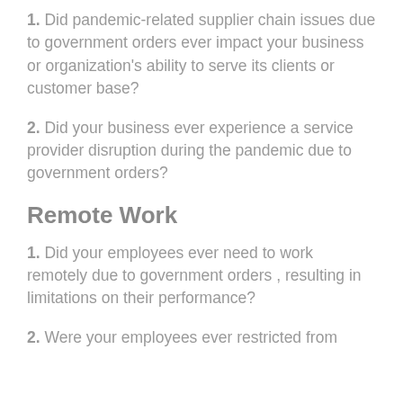1. Did pandemic-related supplier chain issues due to government orders ever impact your business or organization's ability to serve its clients or customer base?
2. Did your business ever experience a service provider disruption during the pandemic due to government orders?
Remote Work
1. Did your employees ever need to work remotely due to government orders , resulting in limitations on their performance?
2. Were your employees ever restricted from